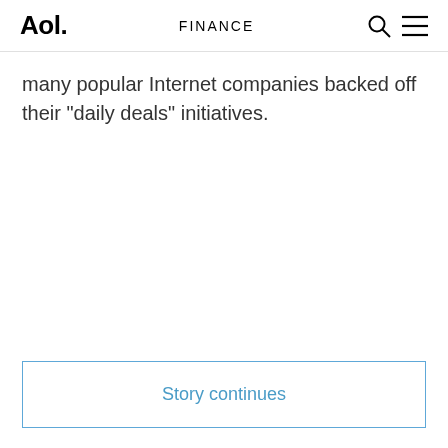Aol. FINANCE
many popular Internet companies backed off their "daily deals" initiatives.
Story continues